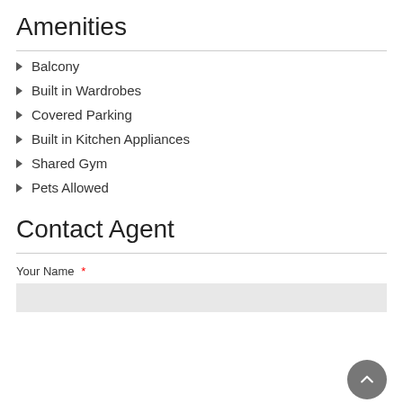Amenities
Balcony
Built in Wardrobes
Covered Parking
Built in Kitchen Appliances
Shared Gym
Pets Allowed
Contact Agent
Your Name *